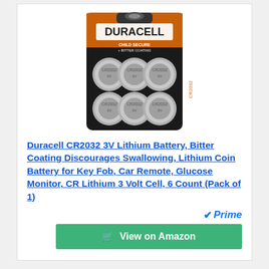[Figure (photo): Duracell CR2032 battery 6-pack product image showing a black-and-copper packaging with 6 coin cell batteries arranged in two rows of three, with Duracell branding and Child Secure + Bitter Coating label]
Duracell CR2032 3V Lithium Battery, Bitter Coating Discourages Swallowing, Lithium Coin Battery for Key Fob, Car Remote, Glucose Monitor, CR Lithium 3 Volt Cell, 6 Count (Pack of 1)
Prime
View on Amazon
NO. 9